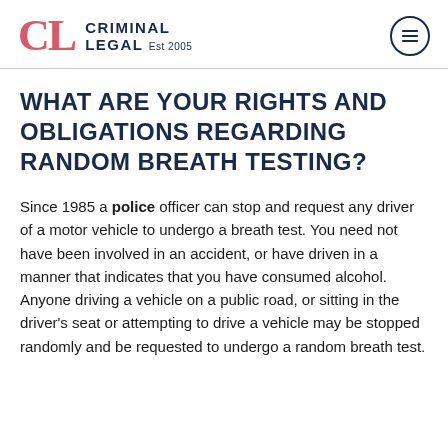CL CRIMINAL LEGAL Est 2005
WHAT ARE YOUR RIGHTS AND OBLIGATIONS REGARDING RANDOM BREATH TESTING?
Since 1985 a police officer can stop and request any driver of a motor vehicle to undergo a breath test. You need not have been involved in an accident, or have driven in a manner that indicates that you have consumed alcohol. Anyone driving a vehicle on a public road, or sitting in the driver's seat or attempting to drive a vehicle may be stopped randomly and be requested to undergo a random breath test.